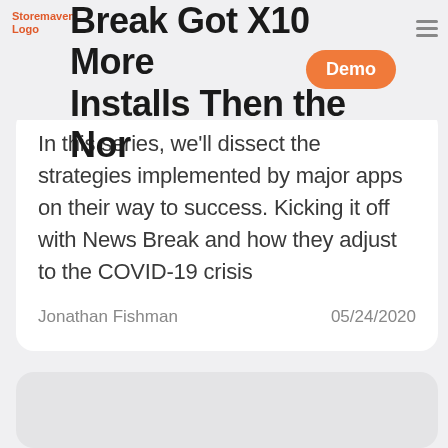Storemaven Logo
Break Got X10 More Installs Then the Norm
In this series, we'll dissect the strategies implemented by major apps on their way to success. Kicking it off with News Break and how they adjust to the COVID-19 crisis
Jonathan Fishman     05/24/2020